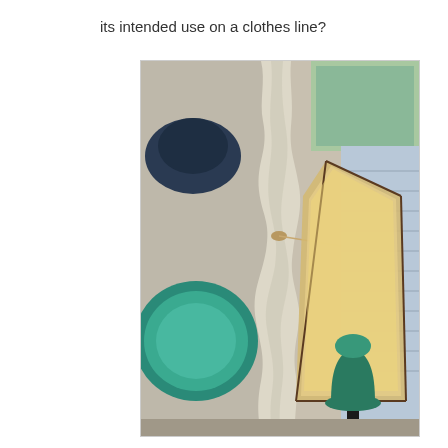its intended use on a clothes line?
[Figure (photo): Indoor room photo showing white linen curtain gathered and tied with a small piece of string or clip near the middle, hanging beside a window. On the left wall hang a dark blue hat and a large teal/green decorative plate. To the right is a glowing table lamp with a weathered cream lampshade and green ceramic base on an ornate black stand. Through the window behind the curtain, an exterior railing or fence is visible.]